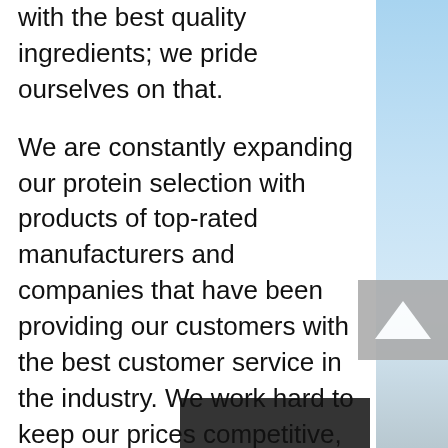with the best quality ingredients; we pride ourselves on that.
We are constantly expanding our protein selection with products of top-rated manufacturers and companies that have been providing our customers with the best customer service in the industry. We work hard to keep our prices competitive, offering many product selections to choose from or bulk powder packages to purchase.
We look forward to serving you as a valued Protein Supplement Company with exceptional customer service and the best quality supplements to deliver you the results you have been looking for. If you are looking for an extremely safe and very effective supplement for your training and performance, or if you want more affordable options, than we do not see a better option than CZ...